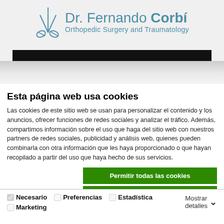[Figure (logo): Dr. Fernando Corbí logo with scissors icon and text 'Orthopedic Surgery and Traumatology']
Esta página web usa cookies
Las cookies de este sitio web se usan para personalizar el contenido y los anuncios, ofrecer funciones de redes sociales y analizar el tráfico. Además, compartimos información sobre el uso que haga del sitio web con nuestros partners de redes sociales, publicidad y análisis web, quienes pueden combinarla con otra información que les haya proporcionado o que hayan recopilado a partir del uso que haya hecho de sus servicios.
Permitir todas las cookies
Permitir la selección
Solo usar cookies necesarias
Necesario  Preferencias  Estadística  Marketing  Mostrar detalles